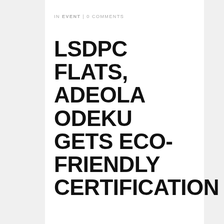IN EVENT | 0 COMMENTS
LSDPC FLATS, ADEOLA ODEKU GETS ECO-FRIENDLY CERTIFICATION